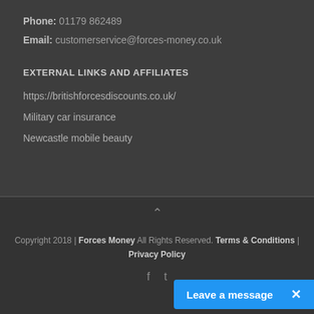Phone: 01179 862489
Email: customerservice@forces-money.co.uk
EXTERNAL LINKS AND AFFILIATES
https://britishforcesdiscounts.co.uk/
Military car insurance
Newcastle mobile beauty
Copyright 2018 | Forces Money All Rights Reserved. Terms & Conditions | Privacy Policy